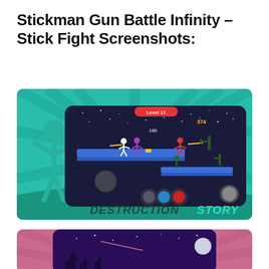Stickman Gun Battle Infinity – Stick Fight Screenshots:
[Figure (screenshot): Game screenshot of Stickman Gun Battle Infinity showing Level 11 gameplay with teal/green stickman silhouette on left, game arena with blue platforms, stickman fighters, cacti, night sky with stars, and 'DESTRUCTION STORY' text at bottom on teal radial burst background.]
[Figure (screenshot): Partial game screenshot showing pink/mauve radial burst background with purple game arena panel and dark purple night sky with stars and a moon visible at top.]